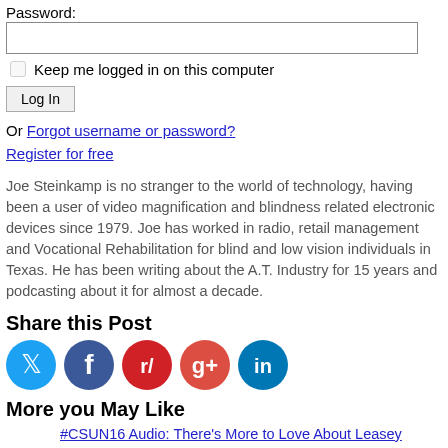Password:
Keep me logged in on this computer
Log In
Or Forgot username or password?
Register for free
Joe Steinkamp is no stranger to the world of technology, having been a user of video magnification and blindness related electronic devices since 1979. Joe has worked in radio, retail management and Vocational Rehabilitation for blind and low vision individuals in Texas. He has been writing about the A.T. Industry for 15 years and podcasting about it for almost a decade.
Share this Post
[Figure (infographic): Social media sharing icons: Twitter (blue circle), Facebook (dark blue circle), Reddit (orange-red circle), Google+ (red circle), LinkedIn (teal circle)]
More you May Like
#CSUN16 Audio: There's More to Love About Leasey
#ACB15 Audio: Zoomtext Fusion and More from Al